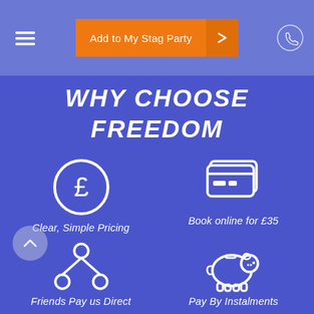Add to My Stag Party
WHY CHOOSE FREEDOM
[Figure (illustration): White circle icon with pound sterling symbol inside, representing clear simple pricing]
Clear, Simple Pricing
[Figure (illustration): White credit card / wallet icon representing booking online for £35]
Book online for £35
[Figure (illustration): White share/network nodes icon representing friends paying directly]
Friends Pay us Direct
[Figure (illustration): White piggy bank icon representing paying by instalments]
Pay By Instalments